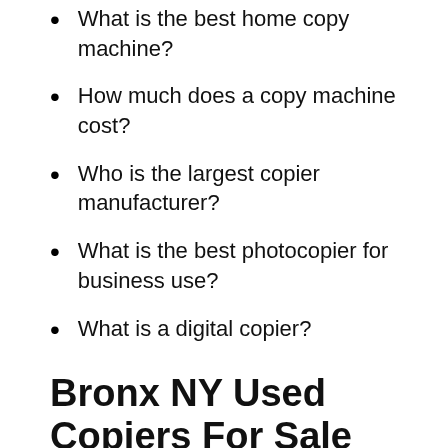What is the best home copy machine?
How much does a copy machine cost?
Who is the largest copier manufacturer?
What is the best photocopier for business use?
What is a digital copier?
Bronx NY Used Copiers For Sale
Is your business located in Bronx NY? Are you searching for a used office copier machine in Bronx NY? Our refurbished copiers are as good as new, and you can save 40-50% when you